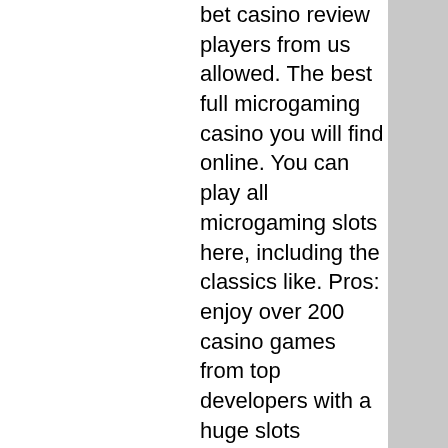bet casino review players from us allowed. The best full microgaming casino you will find online. You can play all microgaming slots here, including the classics like. Pros: enjoy over 200 casino games from top developers with a huge slots collection. Welcome bonus of €100 spread over your first 3 deposits, including 100%. Spin samurai casino review ➤ brand new gambling experience in australia ✓ licensed casino ✓ win massive jackpots ✓ btc, bhc, eth, ltc, doge. Game types: baccarat, blackjack, hundreds of slots, live game shows, roulette, sic bo, video bingo, video poker and many more! license:. Last updated - january 2021. Spin slots run on the nektan casino platform. This group have some terms that players should be aware of before signing-up. 300% up to $1200 + 120 bonus spins on tales of time travel slot 1st deposit bonus from bigdollar casino. Luckycreek casino review. Spin casino